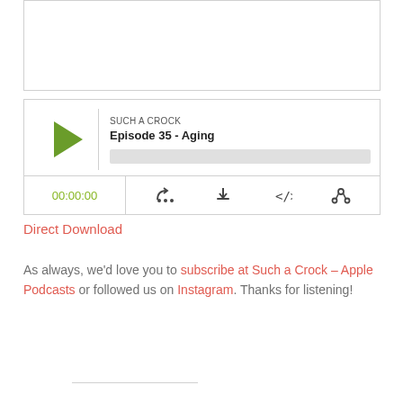[Figure (other): Podcast audio player widget showing episode 'Episode 35 - Aging' from 'Such a Crock' with play button, progress bar, timer showing 00:00:00, and controls for subscribe, download, embed, and share.]
Direct Download
As always, we'd love you to subscribe at Such a Crock – Apple Podcasts or followed us on Instagram. Thanks for listening!